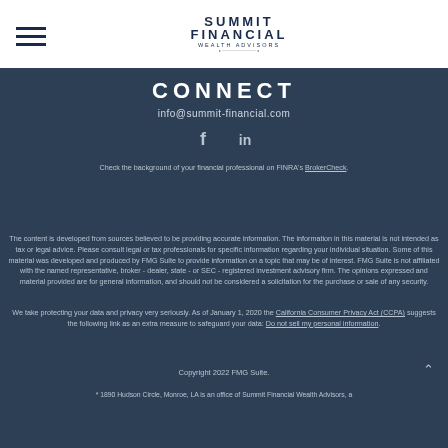[Figure (logo): Summit Financial Wealth Advisors logo with hamburger menu icon on left]
CONNECT
info@summit-financial.com
[Figure (illustration): Social media icons: Facebook and LinkedIn]
Check the background of your financial professional on FINRA's BrokerCheck.
The content is developed from sources believed to be providing accurate information. The information in this material is not intended as tax or legal advice. Please consult legal or tax professionals for specific information regarding your individual situation. Some of this material was developed and produced by FMG Suite to provide information on a topic that may be of interest. FMG Suite is not affiliated with the named representative, broker - dealer, state - or SEC - registered investment advisory firm. The opinions expressed and material provided are for general information, and should not be considered a solicitation for the purchase or sale of any security.
We take protecting your data and privacy very seriously. As of January 1, 2020 the California Consumer Privacy Act (CCPA) suggests the following link as an extra measure to safeguard your data: Do not sell my personal information
Copyright 2022 FMG Suite.
* 1890 Hudson Circle, Monroe, LA is an office of Summit Financial Wealth Advisors, a